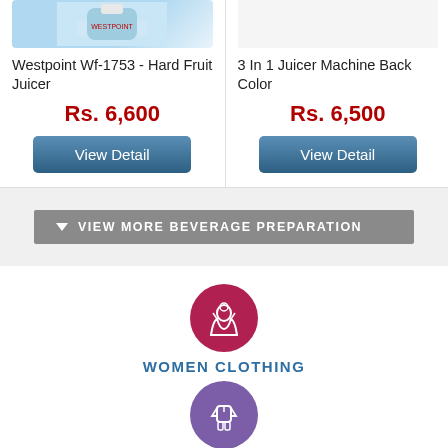Westpoint Wf-1753 - Hard Fruit Juicer
Rs. 6,600
View Detail
3 In 1 Juicer Machine Back Color
Rs. 6,500
View Detail
VIEW MORE BEVERAGE PREPARATION
WOMEN CLOTHING
MEN CLOTHING